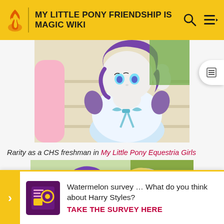MY LITTLE PONY FRIENDSHIP IS MAGIC WIKI
[Figure (illustration): Animated character Rarity as a CHS freshman, wearing a white dress with blue bow, purple hair, raising hand near face]
Rarity as a CHS freshman in My Little Pony Equestria Girls
[Figure (illustration): Two animated pony characters, Rarity and Derpy, shown in pony form with purple and grey coloring]
Watermelon survey … What do you think about Harry Styles? TAKE THE SURVEY HERE